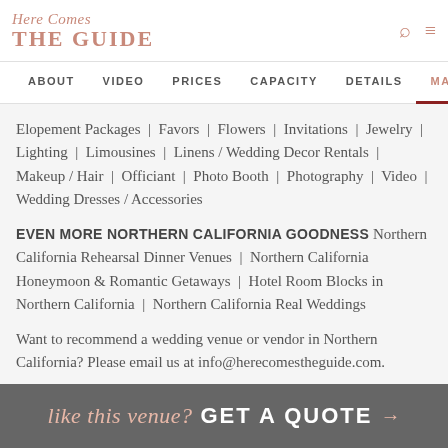Here Comes THE GUIDE
ABOUT  VIDEO  PRICES  CAPACITY  DETAILS  MAP
Elopement Packages | Favors | Flowers | Invitations | Jewelry | Lighting | Limousines | Linens / Wedding Decor Rentals | Makeup / Hair | Officiant | Photo Booth | Photography | Video | Wedding Dresses / Accessories
EVEN MORE NORTHERN CALIFORNIA GOODNESS Northern California Rehearsal Dinner Venues | Northern California Honeymoon & Romantic Getaways | Hotel Room Blocks in Northern California | Northern California Real Weddings
Want to recommend a wedding venue or vendor in Northern California? Please email us at info@herecomestheguide.com.
like this venue? GET A QUOTE